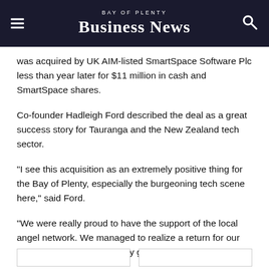Bay of Plenty Business News
was acquired by UK AIM-listed SmartSpace Software Plc less than year later for $11 million in cash and SmartSpace shares.
Co-founder Hadleigh Ford described the deal as a great success story for Tauranga and the New Zealand tech sector.
"I see this acquisition as an extremely positive thing for the Bay of Plenty, especially the burgeoning tech scene here," said Ford.
"We were really proud to have the support of the local angel network. We managed to realize a return for our investors that was extremely good."